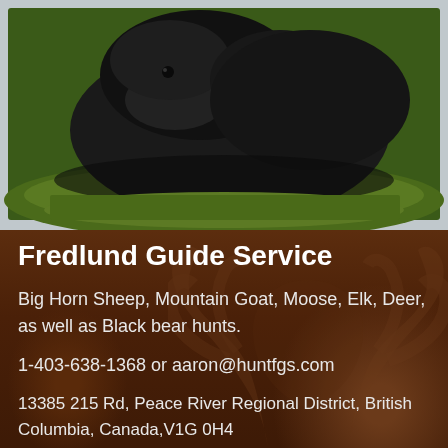[Figure (photo): Close-up photo of a black bear lying on grass/ground, viewed from above. The bear's dark fur is visible against a natural outdoor background.]
Fredlund Guide Service
Big Horn Sheep, Mountain Goat, Moose, Elk, Deer, as well as Black bear hunts.
1-403-638-1368 or aaron@huntfgs.com
13385 215 Rd, Peace River Regional District, British Columbia, Canada,V1G 0H4